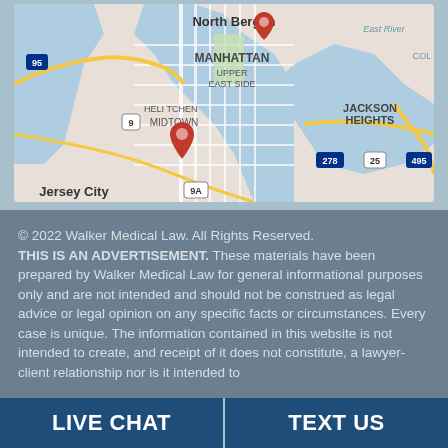[Figure (map): Google Maps screenshot showing Manhattan, North Bergen, Hell's Kitchen, Midtown, Upper East Side, Jackson Heights, Jersey City, and surrounding areas with two red location pin markers. Major route labels: 95, 9, 278, 25, 495, 9A.]
© 2022 Walker Medical Law. All Rights Reserved. THIS IS AN ADVERTISEMENT. These materials have been prepared by Walker Medical Law for general informational purposes only and are not intended and should not be construed as legal advice or legal opinion on any specific facts or circumstances. Every case is unique. The information contained in this website is not intended to create, and receipt of it does not constitute, a lawyer-client relationship nor is it intended to
LIVE CHAT   TEXT US